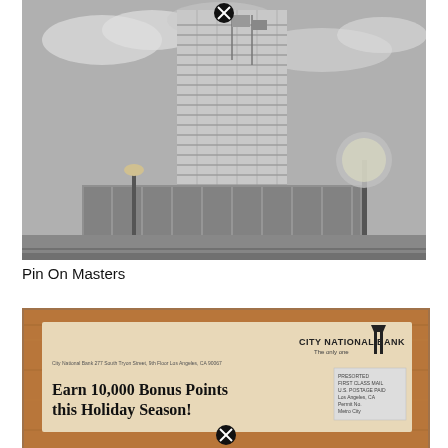[Figure (photo): Black and white photograph of a tall modern skyscraper building with a glass-fronted lower section, street lamps, and cloudy sky. Urban scene with road in foreground.]
Pin On Masters
[Figure (photo): Photograph of a City National Bank promotional mailer on a wooden surface. Text reads 'Earn 10,000 Bonus Points this Holiday Season!' with City National Bank logo in upper right. Includes postage area on right side.]